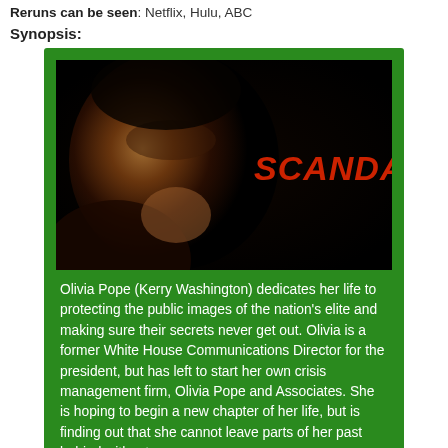Reruns can be seen: Netflix, Hulu, ABC
Synopsis:
[Figure (photo): Promotional image for the TV show 'Scandal' — a woman's face in close-up on a dark background with the word SCANDAL in large red stylized letters on the right side.]
Olivia Pope (Kerry Washington) dedicates her life to protecting the public images of the nation's elite and making sure their secrets never get out. Olivia is a former White House Communications Director for the president, but has left to start her own crisis management firm, Olivia Pope and Associates. She is hoping to begin a new chapter of her life, but is finding out that she cannot leave parts of her past behind without